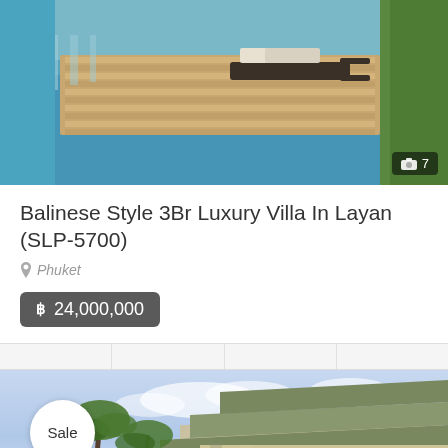[Figure (photo): Aerial/elevated view of a luxury villa pool deck with lounge chairs and glass railing, wooden decking, tropical setting]
Balinese Style 3Br Luxury Villa In Layan (SLP-5700)
Phuket
฿ 24,000,000
[Figure (photo): Two-story Balinese/tropical style villa exterior with palm trees against a partly cloudy blue sky, with a 'Sale' badge overlay]